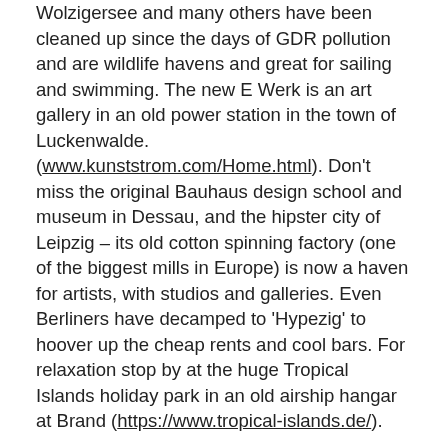Wolzigersee and many others have been cleaned up since the days of GDR pollution and are wildlife havens and great for sailing and swimming. The new E Werk is an art gallery in an old power station in the town of Luckenwalde. (www.kunststrom.com/Home.html). Don't miss the original Bauhaus design school and museum in Dessau, and the hipster city of Leipzig – its old cotton spinning factory (one of the biggest mills in Europe) is now a haven for artists, with studios and galleries. Even Berliners have decamped to 'Hypezig' to hoover up the cheap rents and cool bars. For relaxation stop by at the huge Tropical Islands holiday park in an old airship hangar at Brand (https://www.tropical-islands.de/).
Bake under summer sunrays at Brandenburg's Wannsee or Teufelssee lake.
Motel One is always a great value stay with hotels in Leipzig, Dresden, Berlin and Hamburg with easy access to